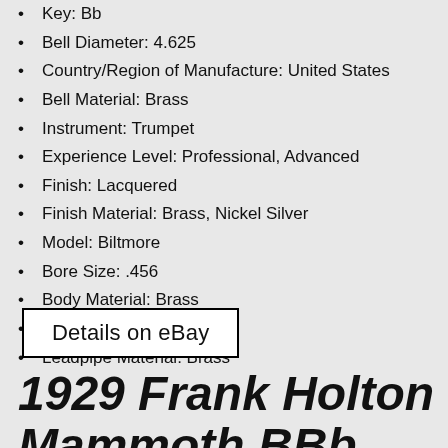Key: Bb
Bell Diameter: 4.625
Country/Region of Manufacture: United States
Bell Material: Brass
Instrument: Trumpet
Experience Level: Professional, Advanced
Finish: Lacquered
Finish Material: Brass, Nickel Silver
Model: Biltmore
Bore Size: .456
Body Material: Brass
Brand: Wm. Frank
Leadpipe Material: Brass
Details on eBay
1929 Frank Holton Mammoth BBb Recording Tuba